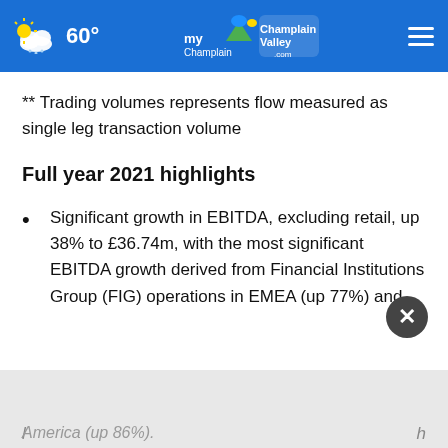60° myChamplainValley.com
** Trading volumes represents flow measured as single leg transaction volume
Full year 2021 highlights
Significant growth in EBITDA, excluding retail, up 38% to £36.74m, with the most significant EBITDA growth derived from Financial Institutions Group (FIG) operations in EMEA (up 77%) and [Americas (up 86%)]